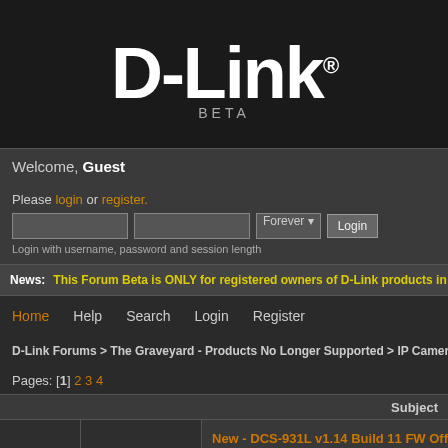[Figure (logo): D-Link logo in white bold text with registered trademark symbol, on dark background, with BETA label below]
Welcome, Guest
Please login or register. Login with username, password and session length
News: This Forum Beta is ONLY for registered owners of D-Link products in th
Home   Help   Search   Login   Register
D-Link Forums > The Graveyard - Products No Longer Supported > IP Cameras
Pages: [1] 2 3 4
Subject
New - DCS-931L v1.14 Build 11 FW Offical Re
DCS-931L - Firmware Wishlist
DCS-931L - Important Posts & Information